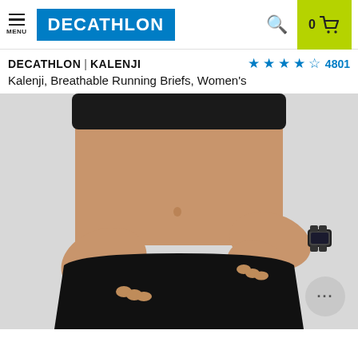DECATHLON — MENU, Search, Cart (0)
DECATHLON | KALENJI — ★★★★½ 4801
Kalenji, Breathable Running Briefs, Women's
[Figure (photo): Woman's torso wearing black running briefs (Kalenji brand), adjusting the waistband with both hands. She wears a black sports bra. A smartwatch is visible on her right wrist. Background is light gray.]